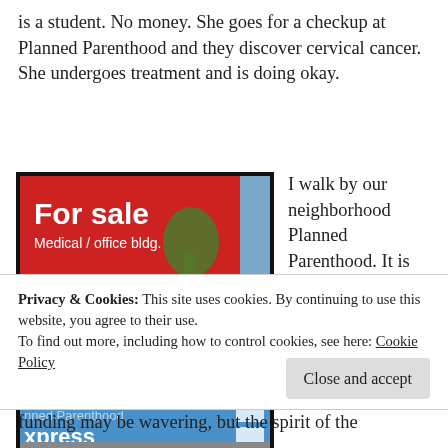is a student. No money. She goes for a checkup at Planned Parenthood and they discover cervical cancer. She undergoes treatment and is doing okay.
[Figure (photo): Photo of a red 'For sale' real estate sign in front of a Planned Parenthood Express building. The sign reads: 'For sale / Medical / office bldg. / 858 410 1200 / Kelly Moriarty / Paul Braun'. Behind the sign is a blue building with 'Planned Parenthood Express' visible.]
I walk by our neighborhood Planned Parenthood. It is closed! Oh no. But I see it has moved to another location two
Privacy & Cookies: This site uses cookies. By continuing to use this website, you agree to their use.
To find out more, including how to control cookies, see here: Cookie Policy
funding may be wavering, but the spirit of the